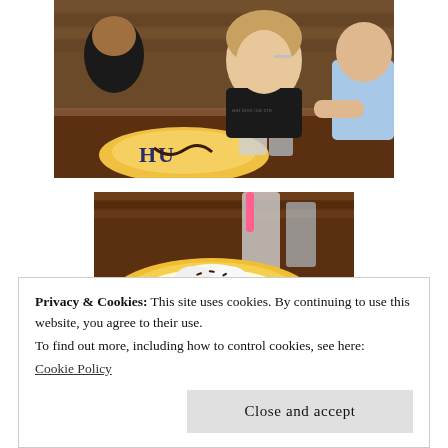[Figure (photo): People sitting at a restaurant table eating dessert from a Hula-branded plate. A woman in a black t-shirt is eating with a spoon. Drinks on the table including a pink straw cup and water glasses.]
[Figure (photo): Close-up of a yellow Hula-branded plate with dessert topped with whipped cream and chocolate sprinkles, on a wooden table with drinks in the background.]
Privacy & Cookies: This site uses cookies. By continuing to use this website, you agree to their use.
To find out more, including how to control cookies, see here:
Cookie Policy
Close and accept
[Figure (photo): Partial view of another Hula dessert plate, yellow and white, partially cropped at bottom of page.]